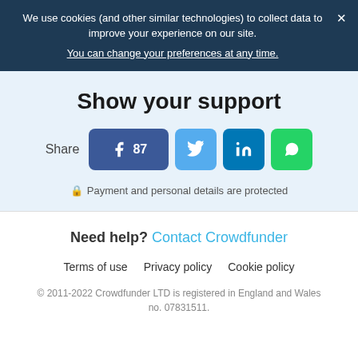We use cookies (and other similar technologies) to collect data to improve your experience on our site. You can change your preferences at any time.
Show your support
Share  87  (Facebook, Twitter, LinkedIn, WhatsApp buttons)
Payment and personal details are protected
Need help? Contact Crowdfunder
Terms of use  Privacy policy  Cookie policy
© 2011-2022 Crowdfunder LTD is registered in England and Wales no. 07831511.